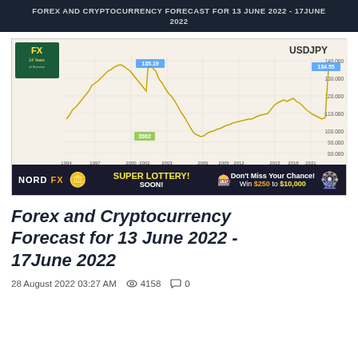FOREX AND CRYPTOCURRENCY FORECAST FOR 13 JUNE 2022 - 17JUNE 2022
[Figure (continuous-plot): USDJPY long-term line chart from 1994 to 2021, showing price movement with gold/yellow line on beige background. Chart shows peak around 2002 at 135.19, recent high at 134.55, y-axis ranging from approximately 80.000 to 140.000. FX 14 Years logo in top left. NordFX Super Lottery advertisement banner at the bottom of the chart.]
Forex and Cryptocurrency Forecast for 13 June 2022 - 17June 2022
28 August 2022 03:27 AM   4158   0